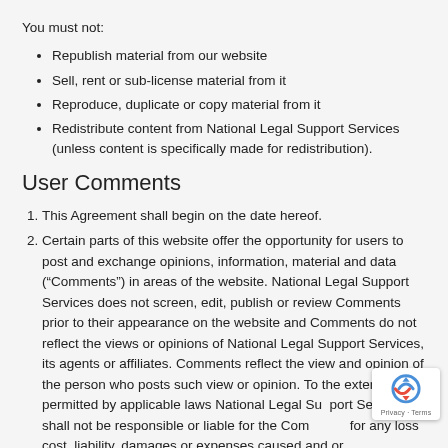You must not:
Republish material from our website
Sell, rent or sub-license material from it
Reproduce, duplicate or copy material from it
Redistribute content from National Legal Support Services (unless content is specifically made for redistribution).
User Comments
This Agreement shall begin on the date hereof.
Certain parts of this website offer the opportunity for users to post and exchange opinions, information, material and data (“Comments”) in areas of the website. National Legal Support Services does not screen, edit, publish or review Comments prior to their appearance on the website and Comments do not reflect the views or opinions of National Legal Support Services, its agents or affiliates. Comments reflect the view and opinion of the person who posts such view or opinion. To the extent permitted by applicable laws National Legal Support Services shall not be responsible or liable for the Comments or for any loss cost, liability, damages or expenses caused and or